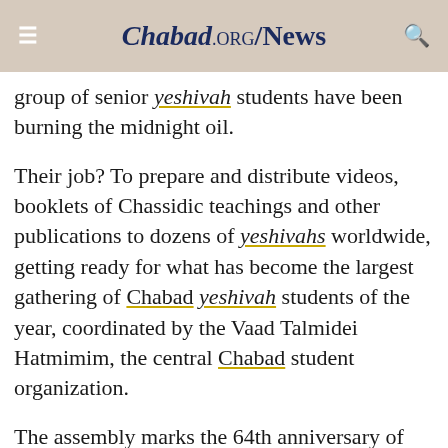Chabad.org/News
group of senior yeshivah students have been burning the midnight oil.
Their job? To prepare and distribute videos, booklets of Chassidic teachings and other publications to dozens of yeshivahs worldwide, getting ready for what has become the largest gathering of Chabad yeshivah students of the year, coordinated by the Vaad Talmidei Hatmimim, the central Chabad student organization.
The assembly marks the 64th anniversary of the passing in 1950 of the previous Rebbe—Rabbi Yosef Yitzchok Schneersohn, of righteous memory—and the day, one year later, when his son-in-law, the seventh